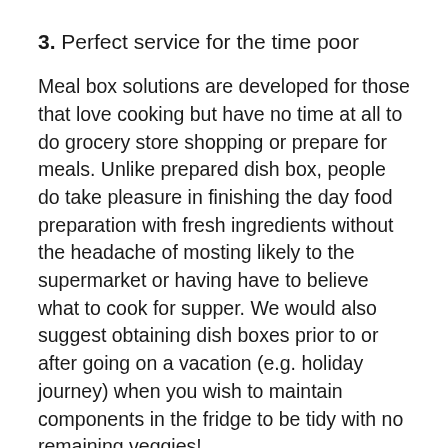3. Perfect service for the time poor
Meal box solutions are developed for those that love cooking but have no time at all to do grocery store shopping or prepare for meals. Unlike prepared dish box, people do take pleasure in finishing the day food preparation with fresh ingredients without the headache of mosting likely to the supermarket or having have to believe what to cook for supper. We would also suggest obtaining dish boxes prior to or after going on a vacation (e.g. holiday journey) when you wish to maintain components in the fridge to be tidy with no remaining veggies!
4. Easy to cancel or miss your orders